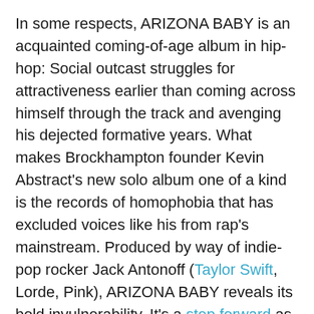In some respects, ARIZONA BABY is an acquainted coming-of-age album in hip-hop: Social outcast struggles for attractiveness earlier than coming across himself through the track and avenging his dejected formative years. What makes Brockhampton founder Kevin Abstract's new solo album one of a kind is the records of homophobia that has excluded voices like his from rap's mainstream. Produced by way of indie-pop rocker Jack Antonoff (Taylor Swift, Lorde, Pink), ARIZONA BABY reveals its bold invulnerability. It's a step forward as ambitious as any the tradition has ever witnessed. —Rodney Carmichael
Some people insist that covering traditional recordings is an exercise in futility — the originals are so sacrosanct that any remake would be blasphemous or downright foolish. Good issue West African vocalist